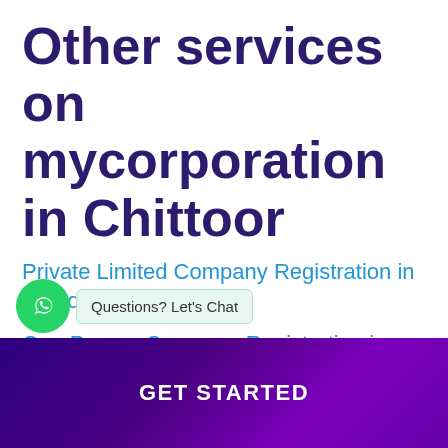Other services on mycorporation in Chittoor
Private Limited Company Registration in Chittoor
One Person Company Registration in Chittoor
Public Limited Company Registration in
GET STARTED